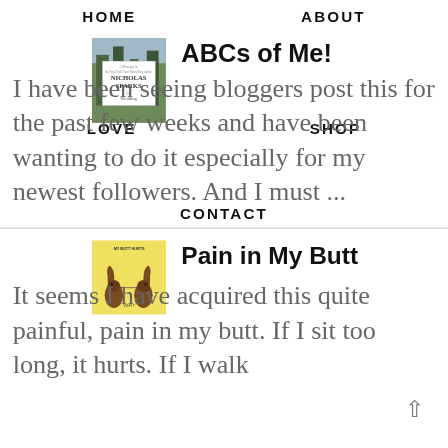HOME   ABOUT
[Figure (illustration): Book cover for 'The Wedding' by Nicholas Sparks]
ABCs of Me!
LOVE   SHOP
I have been seeing bloggers post this for the past few weeks and have been wanting to do it especially for my newest followers. And I must ...
CONTACT
[Figure (illustration): Yellow book cover showing two chocolate Easter bunnies facing each other. Text reads 'MY BUTT HURTS' and 'WHY?']
Pain in My Butt
It seems I have acquired this quite painful, pain in my butt. If I sit too long, it hurts. If I walk